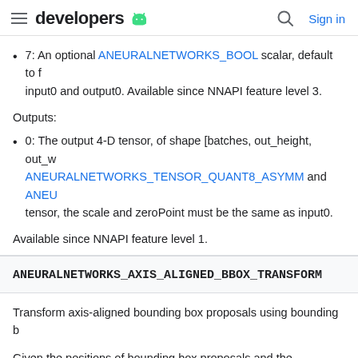developers [android logo] | Search | Sign in
7: An optional ANEURALNETWORKS_BOOL scalar, default to f input0 and output0. Available since NNAPI feature level 3.
Outputs:
0: The output 4-D tensor, of shape [batches, out_height, out_w ANEURALNETWORKS_TENSOR_QUANT8_ASYMM and ANEU tensor, the scale and zeroPoint must be the same as input0.
Available since NNAPI feature level 1.
ANEURALNETWORKS_AXIS_ALIGNED_BBOX_TRANSFORM
Transform axis-aligned bounding box proposals using bounding b
Given the positions of bounding box proposals and the correspon refined bounding box regions. The resulting bounding boxes are c
Supported tensor OperandCode: